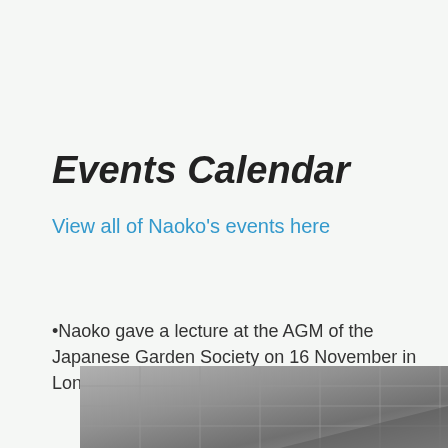Events Calendar
View all of Naoko's events here
•Naoko gave a lecture at the AGM of the Japanese Garden Society on 16 November in London.
[Figure (photo): Partial view of an interior space — ceiling or floor with a geometric grid pattern, grey tones.]